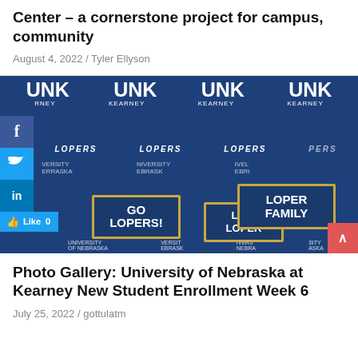Center – a cornerstone project for campus, community
August 4, 2022 / Tyler Ellyson
[Figure (photo): Three people standing in front of a UNK (University of Nebraska Kearney) branded blue backdrop with 'LOPERS' text repeated. The woman on the left wears a blue UNK shirt, the young woman in the middle wears a gold/yellow UNK shirt and holds a sign reading 'Little LOPER', the man on the right holds a sign reading 'LOPER FAMILY'. The left person holds a sign reading 'GO LOPERS!'. Social media share buttons (Facebook, Twitter, LinkedIn) appear on the left side, and a Facebook Like button shows 'Like 0'.]
Photo Gallery: University of Nebraska at Kearney New Student Enrollment Week 6
July 25, 2022 / gottulatm